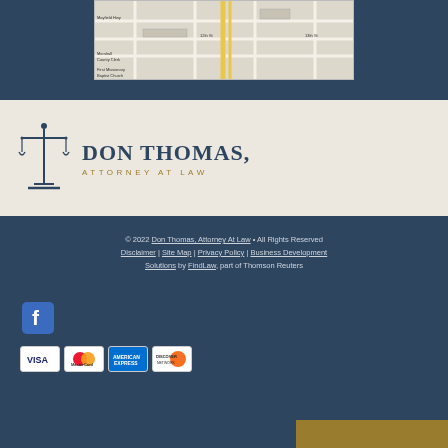[Figure (map): Street map showing location of Don Thomas Attorney at Law office]
[Figure (logo): Don Thomas, Attorney at Law logo with scales of justice icon, dark blue text and gold subtitle]
© 2022 Don Thomas, Attorney At Law • All Rights Reserved
Disclaimer | Site Map | Privacy Policy | Business Development Solutions by FindLaw, part of Thomson Reuters
[Figure (photo): Facebook social media icon button]
[Figure (other): Payment method icons: Visa, Mastercard, American Express, Discover Network]